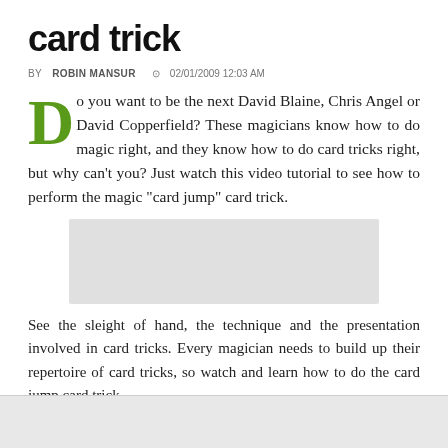card trick
BY ROBIN MANSUR  ⊙ 02/01/2009 12:03 AM
Do you want to be the next David Blaine, Chris Angel or David Copperfield? These magicians know how to do magic right, and they know how to do card tricks right, but why can't you? Just watch this video tutorial to see how to perform the magic "card jump" card trick.
[Figure (other): Video player placeholder — grey rectangle]
See the sleight of hand, the technique and the presentation involved in card tricks. Every magician needs to build up their repertoire of card tricks, so watch and learn how to do the card jump card trick.